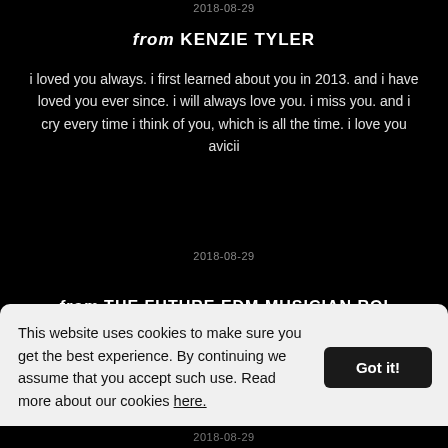2018-08-29
from KENZIE TYLER
i loved you always. i first learned about you in 2013. and i have loved you ever since. i will always love you. i miss you. and i cry every time i think of you, which is all the time. i love you avicii
2018-08-29
from THE FUTURE EDM MUSICIAN ROI
You will always be the best musician in the world, you didn't make music, you feel it, because you are awesome, thank you
This website uses cookies to make sure you get the best experience. By continuing we assume that you accept such use. Read more about our cookies here.
2018-08-29